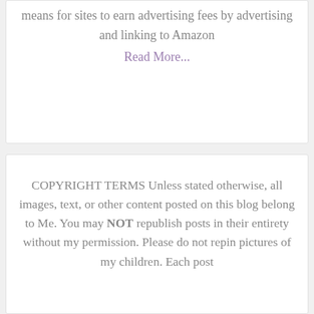means for sites to earn advertising fees by advertising and linking to Amazon
Read More...
COPYRIGHT TERMS Unless stated otherwise, all images, text, or other content posted on this blog belong to Me. You may NOT republish posts in their entirety without my permission. Please do not repin pictures of my children. Each post